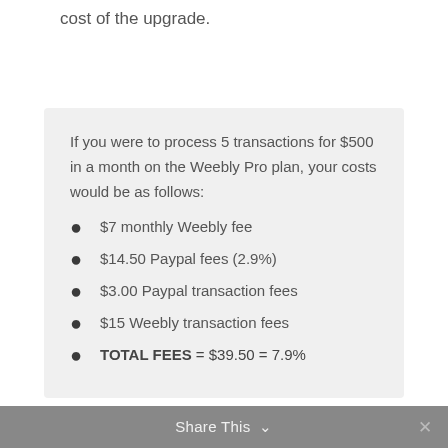cost of the upgrade.
If you were to process 5 transactions for $500 in a month on the Weebly Pro plan, your costs would be as follows:
$7 monthly Weebly fee
$14.50 Paypal fees (2.9%)
$3.00 Paypal transaction fees
$15 Weebly transaction fees
TOTAL FEES = $39.50 = 7.9%
Share This ∨  ×